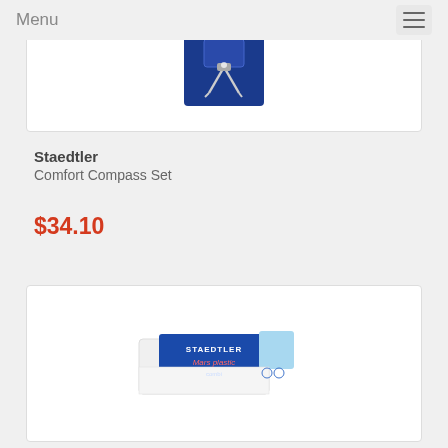Menu
[Figure (photo): Staedtler Comfort Compass Set product image showing compass in blue case]
Staedtler
Comfort Compass Set
$34.10
[Figure (photo): Staedtler Mars plastic combi eraser product image]